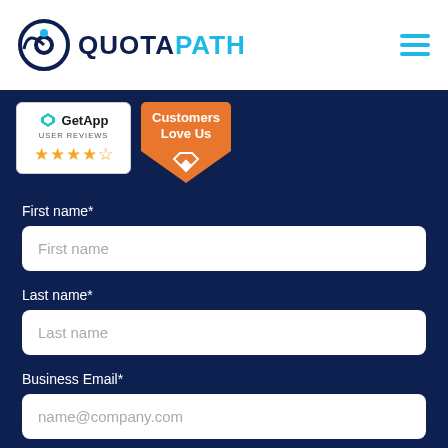[Figure (logo): QuotaPath logo with circular icon and text]
[Figure (other): Hamburger menu icon (three horizontal lines in blue)]
[Figure (other): GetApp User Reviews badge with 4.5 star rating]
[Figure (other): Customers Love Us badge in orange]
First name*
First name (placeholder)
Last name*
Last name (placeholder)
Business Email*
name@company.com (placeholder)